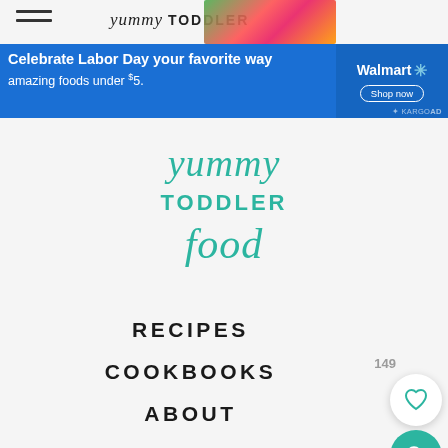[Figure (screenshot): Walmart advertisement banner: blue background with text 'Celebrate Labor Day your favorite way amazing foods under $5.' and Walmart logo with Shop now button]
[Figure (logo): Yummy Toddler Food website logo in teal cursive script]
RECIPES
COOKBOOKS
ABOUT
RESOURCES
CONTACT